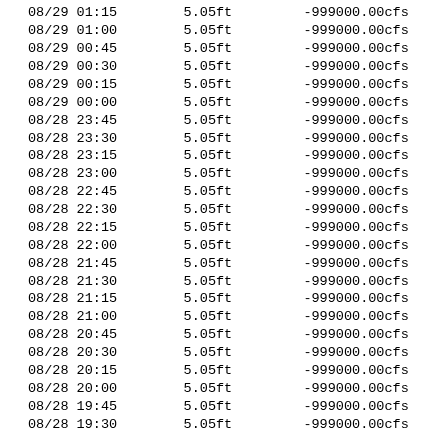| 08/29 01:15 | 5.05ft | -999000.00cfs |
| 08/29 01:00 | 5.05ft | -999000.00cfs |
| 08/29 00:45 | 5.05ft | -999000.00cfs |
| 08/29 00:30 | 5.05ft | -999000.00cfs |
| 08/29 00:15 | 5.05ft | -999000.00cfs |
| 08/29 00:00 | 5.05ft | -999000.00cfs |
| 08/28 23:45 | 5.05ft | -999000.00cfs |
| 08/28 23:30 | 5.05ft | -999000.00cfs |
| 08/28 23:15 | 5.05ft | -999000.00cfs |
| 08/28 23:00 | 5.05ft | -999000.00cfs |
| 08/28 22:45 | 5.05ft | -999000.00cfs |
| 08/28 22:30 | 5.05ft | -999000.00cfs |
| 08/28 22:15 | 5.05ft | -999000.00cfs |
| 08/28 22:00 | 5.05ft | -999000.00cfs |
| 08/28 21:45 | 5.05ft | -999000.00cfs |
| 08/28 21:30 | 5.05ft | -999000.00cfs |
| 08/28 21:15 | 5.05ft | -999000.00cfs |
| 08/28 21:00 | 5.05ft | -999000.00cfs |
| 08/28 20:45 | 5.05ft | -999000.00cfs |
| 08/28 20:30 | 5.05ft | -999000.00cfs |
| 08/28 20:15 | 5.05ft | -999000.00cfs |
| 08/28 20:00 | 5.05ft | -999000.00cfs |
| 08/28 19:45 | 5.05ft | -999000.00cfs |
| 08/28 19:30 | 5.05ft | -999000.00cfs |